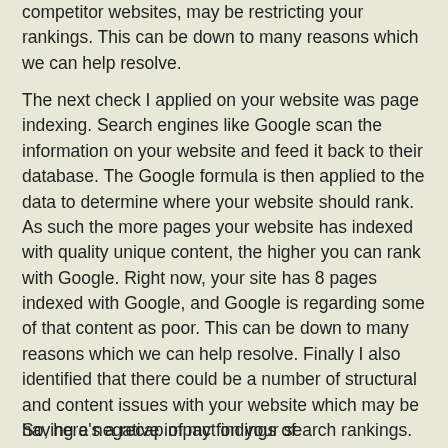competitor websites, may be restricting your rankings. This can be down to many reasons which we can help resolve.
The next check I applied on your website was page indexing. Search engines like Google scan the information on your website and feed it back to their database. The Google formula is then applied to the data to determine where your website should rank. As such the more pages your website has indexed with quality unique content, the higher you can rank with Google. Right now, your site has 8 pages indexed with Google, and Google is regarding some of that content as poor. This can be down to many reasons which we can help resolve. Finally I also identified that there could be a number of structural and content issues with your website which may be having a negative impact on your search rankings.
So, here's a recap of my findings of danielwaxing.co.uk: